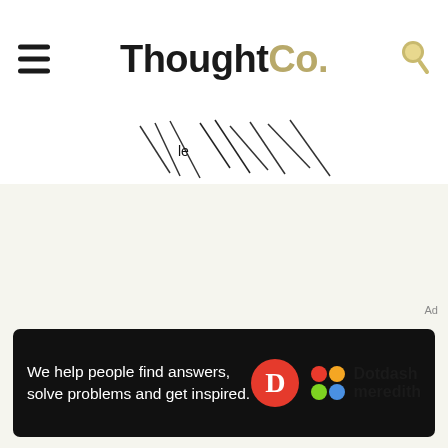ThoughtCo.
[Figure (screenshot): Partial view of an illustration or sketch image, showing pencil/ink lines on white background]
[Figure (screenshot): ThoughtCo website advertisement banner: 'We help people find answers, solve problems and get inspired.' with Dotdash Meredith logo]